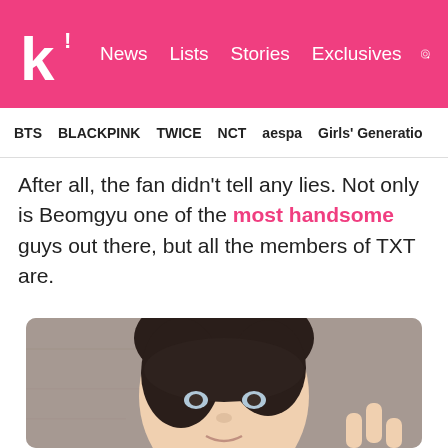k! News  Lists  Stories  Exclusives
BTS  BLACKPINK  TWICE  NCT  aespa  Girls' Generation
After all, the fan didn't tell any lies. Not only is Beomgyu one of the most handsome guys out there, but all the members of TXT are.
[Figure (photo): Close-up selfie of Beomgyu (TXT member) with dark brown layered hair, blue-grey eyes, smiling slightly, making a peace sign, against a concrete wall background]